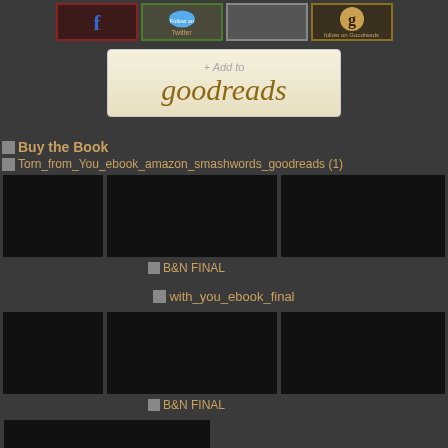[Figure (other): Row of four social media buttons: Facebook, Twitter, blank, Goodreads follow buttons]
[Figure (other): Add to Goodreads button with beige background, plus sign, and goodreads logo text]
Buy the Book
Torn_from_You_ebook_amazon_smashwords_goodreads (1)
[Figure (other): Dark book cover images row for Torn from You]
B&N FINAL
with_you_ebook_final
[Figure (other): Dark book cover images row for With You]
B&N FINAL
[Figure (other): Dark partial book cover image at bottom left]